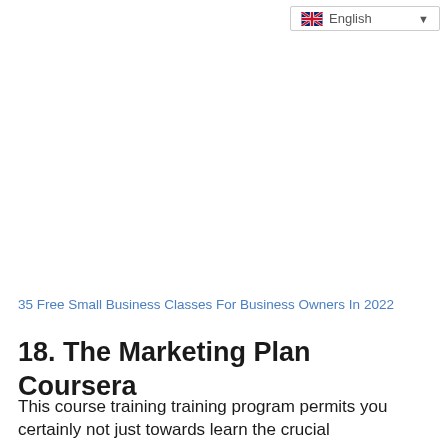English
35 Free Small Business Classes For Business Owners In 2022
18. The Marketing Plan Coursera
This course training training program permits you certainly not just towards learn the crucial